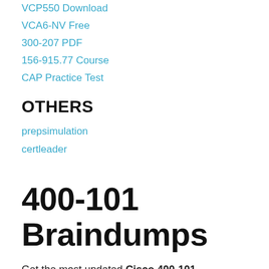VCP550 Download
VCA6-NV Free
300-207 PDF
156-915.77 Course
CAP Practice Test
OTHERS
prepsimulation
certleader
400-101 Braindumps
Get the most updated Cisco 400-101 Braindumps with the correct answers, which are prepared by IT professionals, allowing the candidates to grasp knowledge about their 400-101 certification course in the maximum, you will not find 400-